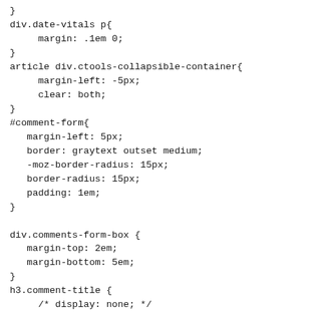}
div.date-vitals p{
     margin: .1em 0;
}
article div.ctools-collapsible-container{
     margin-left: -5px;
     clear: both;
}
#comment-form{
   margin-left: 5px;
   border: graytext outset medium;
   -moz-border-radius: 15px;
   border-radius: 15px;
   padding: 1em;
}

div.comments-form-box {
   margin-top: 2em;
   margin-bottom: 5em;
}
h3.comment-title {
     /* display: none; */
}
p.author-datetime{
     font-weight: bold;
}


/*--><![]]>*/
</style><article id="node-607241" class="node node-